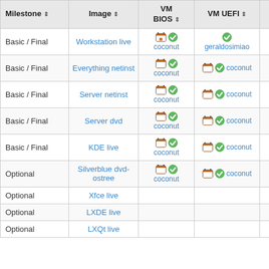| Milestone | Image | VM BIOS | VM UEFI | USB BIOS |
| --- | --- | --- | --- | --- |
| Basic / Final | Workstation live | 🗓✅ coconut | ✅ geraldosimiao | ✅ nielsenb |
| Basic / Final | Everything netinst | 🗓✅ coconut | 🗓✅ coconut |  |
| Basic / Final | Server netinst | 🗓✅ coconut | 🗓✅ coconut |  |
| Basic / Final | Server dvd | 🗓✅ coconut | 🗓✅ coconut |  |
| Basic / Final | KDE live | 🗓✅ coconut | 🗓✅ coconut |  |
| Optional | Silverblue dvd-ostree | 🗓✅ coconut | 🗓✅ coconut |  |
| Optional | Xfce live |  |  |  |
| Optional | LXDE live |  |  |  |
| Optional | LXQt live |  |  |  |